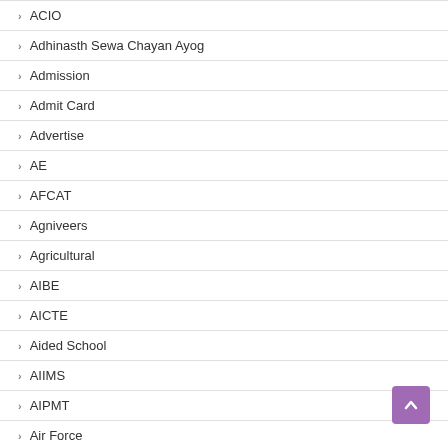ACIO
Adhinasth Sewa Chayan Ayog
Admission
Admit Card
Advertise
AE
AFCAT
Agniveers
Agricultural
AIBE
AICTE
Aided School
AIIMS
AIPMT
Air Force